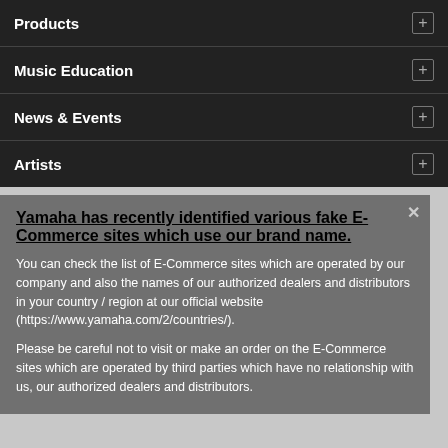Products
Music Education
News & Events
Artists
Yamaha has recently identified various fake E-Commerce sites which use our brand name.
You can check the list of E-Commerce sites which are operated by our company and also the names of our authorized dealers and distributors in your country / region at our official website (https://www.yamaha.com/2/countries/).
Please be careful not to visit or make an order on the E-Commerce sites which are operated by third parties which have no relationship with us, our authorized dealers and distributors.